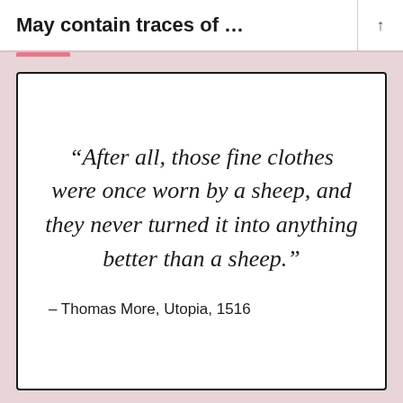May contain traces of …
“After all, those fine clothes were once worn by a sheep, and they never turned it into anything better than a sheep.”
– Thomas More, Utopia, 1516